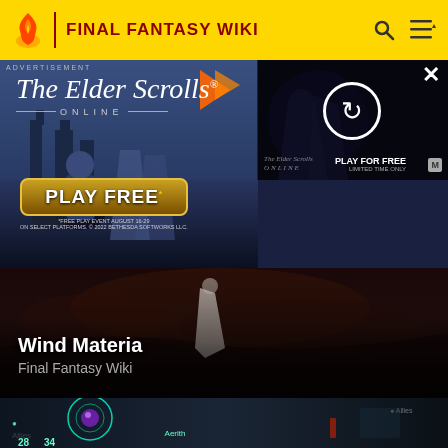FINAL FANTASY WIKI
[Figure (screenshot): The Elder Scrolls Online advertisement banner with PLAY FREE button and secondary ad panel with refresh icon and PLAY FOR FREE LIMITED TIME ONLY text]
ADVERTISEMENT
Wind Materia
Final Fantasy Wiki
[Figure (screenshot): Final Fantasy game screenshot showing battle HUD with circular materia UI element, numbers 28 and 34, and character name Aerith visible]